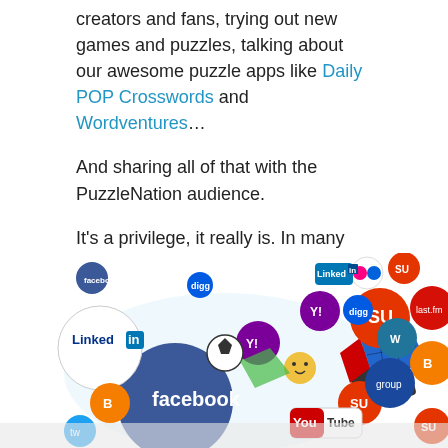creators and fans, trying out new games and puzzles, talking about our awesome puzzle apps like Daily POP Crosswords and Wordventures…
And sharing all of that with the PuzzleNation audience.
It's a privilege, it really is. In many ways, I've become the voice of PuzzleNation, and I take that responsibility seriously. I try to both inform and entertain, and I'm constantly hunting for something new and unexpected to offer you.
[Figure (illustration): Collage of social media icons including Facebook, LinkedIn, YouTube, Blogger, Twitter, Digg, StumbleUpon, Flickr, Yahoo, WordPress, last.fm, and others, arranged around a Rubik's cube-like puzzle block in the center.]